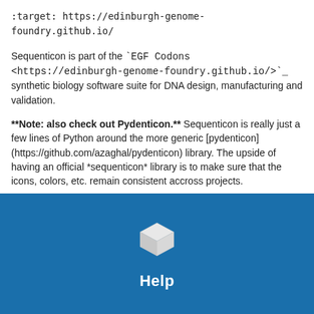:target: https://edinburgh-genome-foundry.github.io/
Sequenticon is part of the `EGF Codons <https://edinburgh-genome-foundry.github.io/>`_ synthetic biology software suite for DNA design, manufacturing and validation.
**Note: also check out Pydenticon.** Sequenticon is really just a few lines of Python around the more generic [pydenticon](https://github.com/azaghal/pydenticon) library. The upside of having an official *sequenticon* library is to make sure that the icons, colors, etc. remain consistent accross projects.
[Figure (illustration): Blue background section with a 3D white cube icon and 'Help' label in white bold text centered below it.]